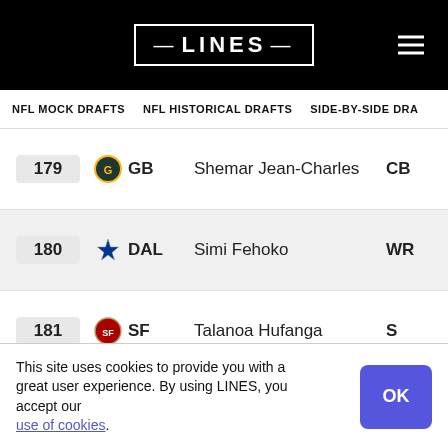LINES
NFL MOCK DRAFTS  NFL HISTORICAL DRAFTS  SIDE-BY-SIDE DRA
| # | Team | Player | Pos |  |
| --- | --- | --- | --- | --- |
| 179 | GB | Shemar Jean-Charles | CB |  |
| 180 | DAL | Simi Fehoko | WR |  |
| 181 | SF | Talanoa Hufanga | S |  |
| 182 | KC | Cornell Powell | WR |  |
This site uses cookies to provide you with a great user experience. By using LINES, you accept our use of cookies.